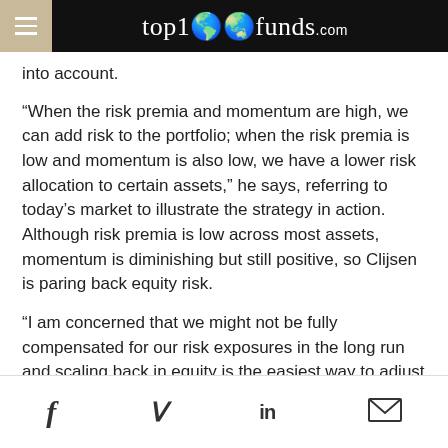top1000funds.com
into account.
“When the risk premia and momentum are high, we can add risk to the portfolio; when the risk premia is low and momentum is also low, we have a lower risk allocation to certain assets,” he says, referring to today’s market to illustrate the strategy in action. Although risk premia is low across most assets, momentum is diminishing but still positive, so Clijsen is paring back equity risk.
“I am concerned that we might not be fully compensated for our risk exposures in the long run and scaling back in equity is the easiest way to adjust the risk budget.”
SUCCESS WITH INTEREST-RATE RISK
Social share icons: Facebook, Twitter, LinkedIn, Email